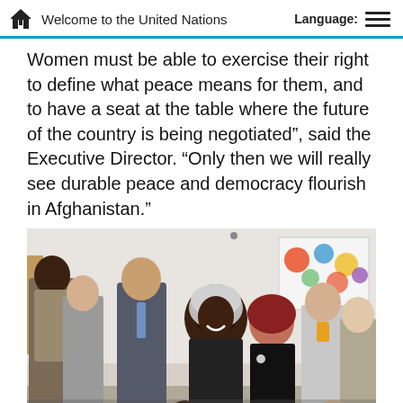Welcome to the United Nations   Language:
Women must be able to exercise their right to define what peace means for them, and to have a seat at the table where the future of the country is being negotiated”, said the Executive Director. “Only then we will really see durable peace and democracy flourish in Afghanistan.”
[Figure (photo): Group of people including UN Deputy Secretary General Amina J. Mohammed (3rd right) visiting the Aga Khan Hospital in Bamyan, alongside UNFPA chief. Photo credit: Fardin Waezi/UNAMA]
Fardin Waezi/UNAMA | UN Deputy Secretary General Amina J. Mohammed (3rd right) visits the Aga Khan Hospital in Bamyan, alongside UNFPA chief Natalia Kanem (centre). (21 June 2019)